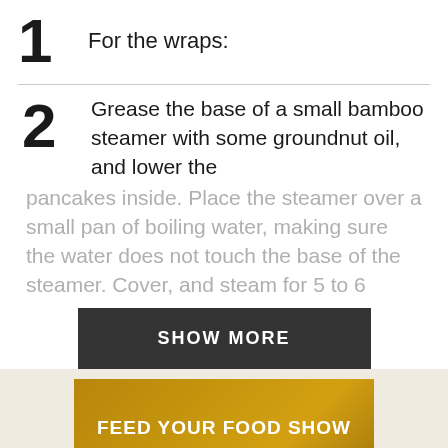1  For the wraps:
2  Grease the base of a small bamboo steamer with some groundnut oil, and lower the pancakes inside. Place the steamer over a small pan of boiling water, making sure the water does not touch the base of the steamer. Cover, and steam for 5 to 6
[Figure (infographic): Dark button with text SHOW MORE]
[Figure (infographic): Gold gradient banner with text FEED YOUR FOOD SHOW CRAVINGS]